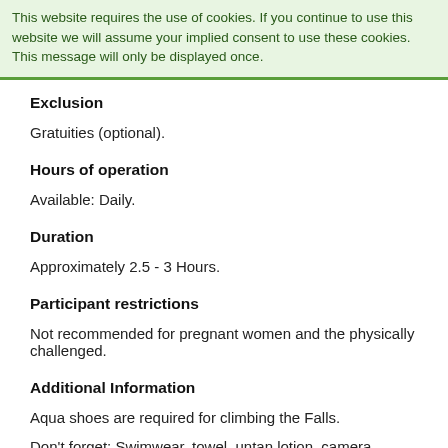This website requires the use of cookies. If you continue to use this website we will assume your implied consent to use these cookies. This message will only be displayed once.
Exclusion
Gratuities (optional).
Hours of operation
Available: Daily.
Duration
Approximately 2.5 - 3 Hours.
Participant restrictions
Not recommended for pregnant women and the physically challenged.
Additional Information
Aqua shoes are required for climbing the Falls.
Don't forget: Swimwear, towel, untan lotion, camera, pocket money.